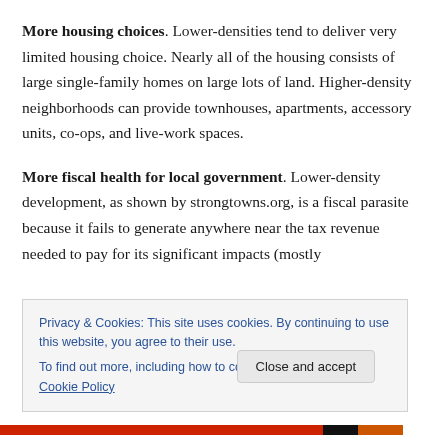More housing choices. Lower-densities tend to deliver very limited housing choice. Nearly all of the housing consists of large single-family homes on large lots of land. Higher-density neighborhoods can provide townhouses, apartments, accessory units, co-ops, and live-work spaces.
More fiscal health for local government. Lower-density development, as shown by strongtowns.org, is a fiscal parasite because it fails to generate anywhere near the tax revenue needed to pay for its significant impacts (mostly
Privacy & Cookies: This site uses cookies. By continuing to use this website, you agree to their use.
To find out more, including how to control cookies, see here: Cookie Policy